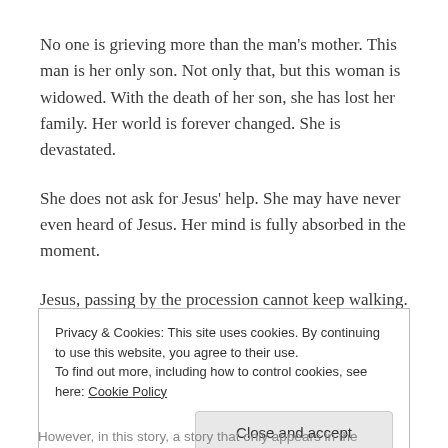No one is grieving more than the man's mother. This man is her only son. Not only that, but this woman is widowed. With the death of her son, she has lost her family. Her world is forever changed. She is devastated.
She does not ask for Jesus' help. She may have never even heard of Jesus. Her mind is fully absorbed in the moment.
Jesus, passing by the procession cannot keep walking. He is moved by compassion to help her.
Privacy & Cookies: This site uses cookies. By continuing to use this website, you agree to their use.
To find out more, including how to control cookies, see here: Cookie Policy
Close and accept
However, in this story, a story that only appears in the